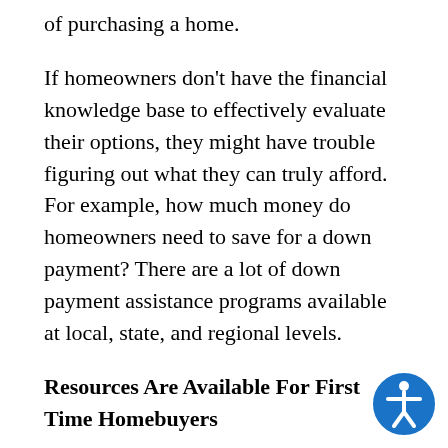of purchasing a home.
If homeowners don't have the financial knowledge base to effectively evaluate their options, they might have trouble figuring out what they can truly afford. For example, how much money do homeowners need to save for a down payment? There are a lot of down payment assistance programs available at local, state, and regional levels.
Resources Are Available For First Time Homebuyers
There are many down payment assistance programs that have been made available